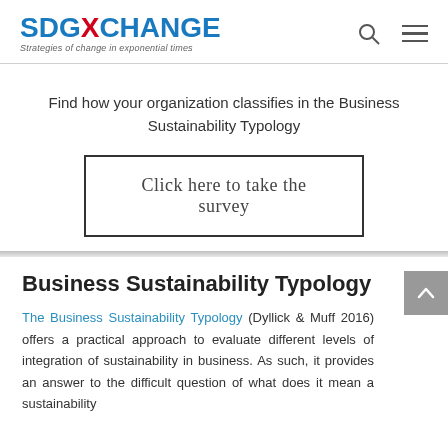SDGXCHANGE — Strategies of change in exponential times
Find how your organization classifies in the Business Sustainability Typology
Click here to take the survey
Business Sustainability Typology
The Business Sustainability Typology (Dyllick & Muff 2016) offers a practical approach to evaluate different levels of integration of sustainability in business. As such, it provides an answer to the difficult question of what does it mean a sustainability